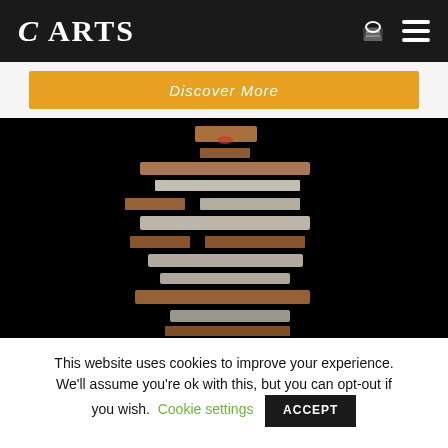C ARTS
Discover More
[Figure (photo): A person's body fragmented into horizontal strips against a black background, creating a striped illusion with skin and white clothing visible through the gaps.]
This website uses cookies to improve your experience. We'll assume you're ok with this, but you can opt-out if you wish. Cookie settings ACCEPT